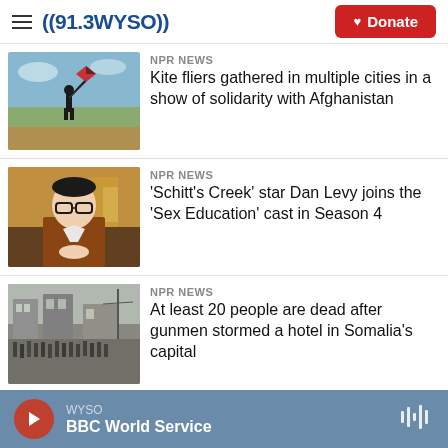((91.3 WYSO)) | Donate
[Figure (photo): Person flying a kite in an open field with trees in background]
NPR News
Kite fliers gathered in multiple cities in a show of solidarity with Afghanistan
[Figure (photo): Dan Levy wearing glasses and a brown jacket, seated with hands clasped]
NPR News
'Schitt's Creek' star Dan Levy joins the 'Sex Education' cast in Season 4
[Figure (photo): Crowd of people on a street in Somalia, appears to be aftermath of attack]
NPR News
At least 20 people are dead after gunmen stormed a hotel in Somalia's capital
WYSO | BBC World Service